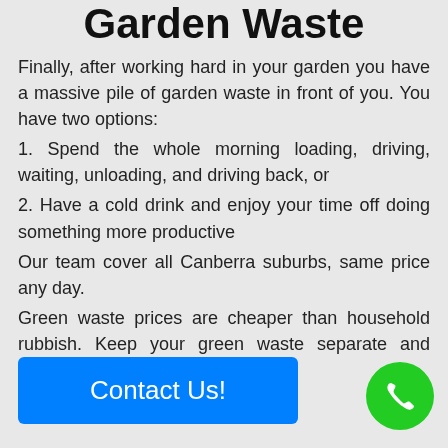Garden Waste
Finally, after working hard in your garden you have a massive pile of garden waste in front of you. You have two options:
1. Spend the whole morning loading, driving, waiting, unloading, and driving back, or
2. Have a cold drink and enjoy your time off doing something more productive
Our team cover all Canberra suburbs, same price any day.
Green waste prices are cheaper than household rubbish. Keep your green waste separate and save.
Contact Us!